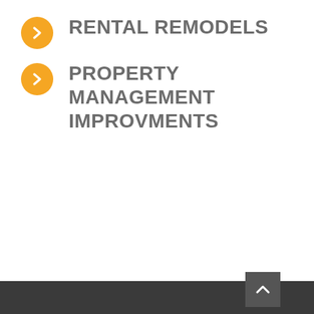RENTAL REMODELS
PROPERTY MANAGEMENT IMPROVMENTS